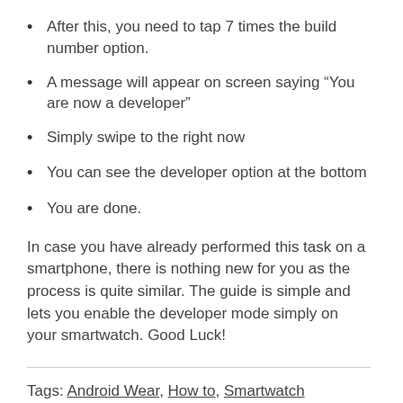After this, you need to tap 7 times the build number option.
A message will appear on screen saying “You are now a developer”
Simply swipe to the right now
You can see the developer option at the bottom
You are done.
In case you have already performed this task on a smartphone, there is nothing new for you as the process is quite similar. The guide is simple and lets you enable the developer mode simply on your smartwatch. Good Luck!
Tags: Android Wear, How to, Smartwatch